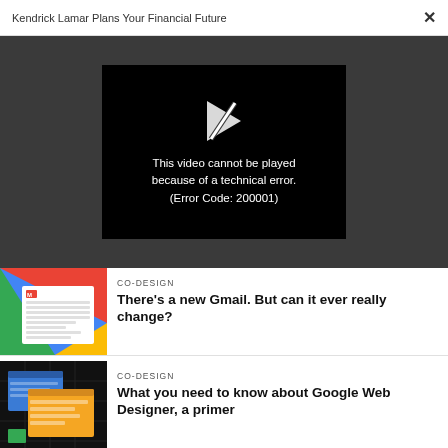Kendrick Lamar Plans Your Financial Future  ×
[Figure (screenshot): Video player showing error message: 'This video cannot be played because of a technical error. (Error Code: 200001)' with a broken play button icon on black background]
[Figure (photo): Gmail interface screenshot with colorful background (red, blue, green)]
CO-DESIGN
There's a new Gmail. But can it ever really change?
[Figure (screenshot): Google Web Designer promotional image showing browser windows on dark background]
CO-DESIGN
What you need to know about Google Web Designer, a primer